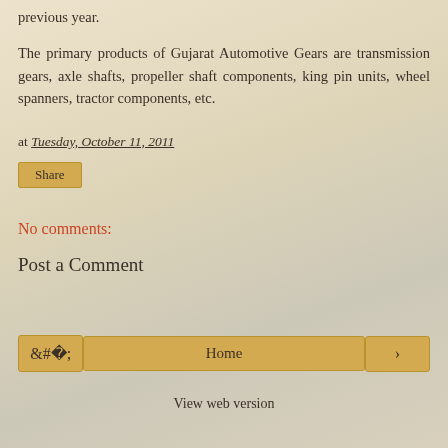previous year.
The primary products of Gujarat Automotive Gears are transmission gears, axle shafts, propeller shaft components, king pin units, wheel spanners, tractor components, etc.
at Tuesday, October 11, 2011
Share
No comments:
Post a Comment
‹
Home
›
View web version